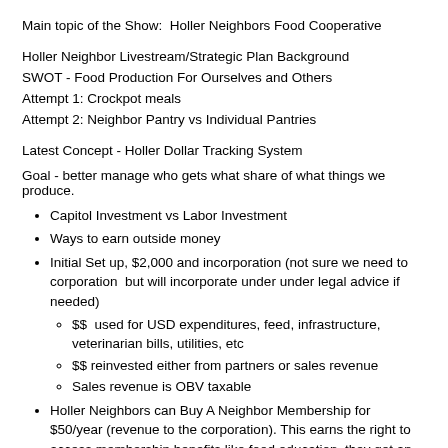Main topic of the Show:  Holler Neighbors Food Cooperative
Holler Neighbor Livestream/Strategic Plan Background
SWOT - Food Production For Ourselves and Others
Attempt 1: Crockpot meals
Attempt 2: Neighbor Pantry vs Individual Pantries
Latest Concept - Holler Dollar Tracking System
Goal - better manage who gets what share of what things we produce.
Capitol Investment vs Labor Investment
Ways to earn outside money
Initial Set up, $2,000 and incorporation (not sure we need to corporation  but will incorporate under under legal advice if needed)
  - $$ used for USD expenditures, feed, infrastructure, veterinarian bills, utilities, etc
  - $$ reinvested either from partners or sales revenue
  - Sales revenue is OBV taxable
Holler Neighbors can Buy A Neighbor Membership for $50/year (revenue to the corporation). This earns the right to access membership benefits like food education, they get an annual amount of Holler Dollar Vouchers and may use vouchers to obtain the food we grow together.
Holler Dollars: Neighbors can Buy or Earn Holler Dollars and pay for